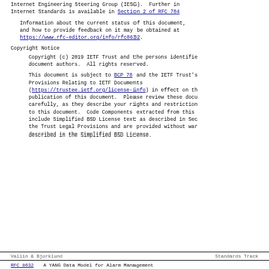Internet Engineering Steering Group (IESG).  Further in Internet Standards is available in Section 2 of RFC 784
Information about the current status of this document, and how to provide feedback on it may be obtained at https://www.rfc-editor.org/info/rfc8632.
Copyright Notice
Copyright (c) 2019 IETF Trust and the persons identified as document authors.  All rights reserved.
This document is subject to BCP 78 and the IETF Trust's Provisions Relating to IETF Documents (https://trustee.ietf.org/license-info) in effect on the publication of this document.  Please review these documents carefully, as they describe your rights and restrictions to this document.  Code Components extracted from this include Simplified BSD License text as described in Sec the Trust Legal Provisions and are provided without warranty described in the Simplified BSD License.
Vallin & Bjorklund                    Standards Track
RFC 8632          A YANG Data Model for Alarm Management